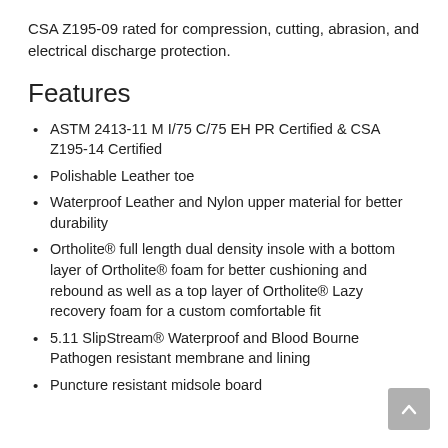CSA Z195-09 rated for compression, cutting, abrasion, and electrical discharge protection.
Features
ASTM 2413-11 M I/75 C/75 EH PR Certified & CSA Z195-14 Certified
Polishable Leather toe
Waterproof Leather and Nylon upper material for better durability
Ortholite® full length dual density insole with a bottom layer of Ortholite® foam for better cushioning and rebound as well as a top layer of Ortholite® Lazy recovery foam for a custom comfortable fit
5.11 SlipStream® Waterproof and Blood Bourne Pathogen resistant membrane and lining
Puncture resistant midsole board